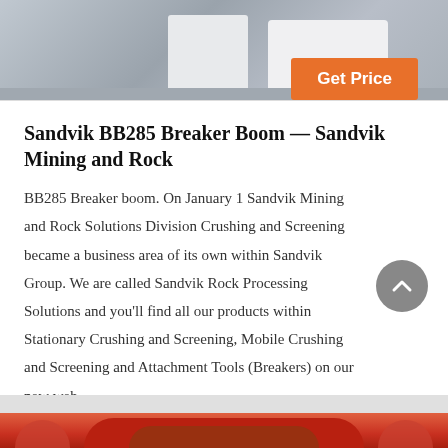[Figure (photo): Top image showing industrial mining machinery (breaker boom equipment) in a factory or workshop setting, light-colored metal machinery on grey floor]
Get Price
Sandvik BB285 Breaker Boom — Sandvik Mining and Rock
BB285 Breaker boom. On January 1 Sandvik Mining and Rock Solutions Division Crushing and Screening became a business area of its own within Sandvik Group. We are called Sandvik Rock Processing Solutions and you'll find all our products within Stationary Crushing and Screening, Mobile Crushing and Screening and Attachment Tools (Breakers) on our new web
[Figure (photo): Bottom image showing orange/red industrial rock crusher cone crusher equipment]